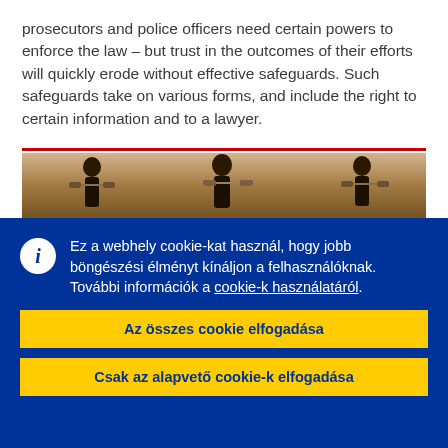prosecutors and police officers need certain powers to enforce the law – but trust in the outcomes of their efforts will quickly erode without effective safeguards. Such safeguards take on various forms, and include the right to certain information and to a lawyer.
[Figure (photo): Photograph of Lady Justice figurines, showing scales and sword, warm tan/brown tones]
Ez a webhely cookie-kat használ, hogy jobb böngészési élményt kínáljon a felhasználóknak. További információk a cookie-k használatáról.
Az összes cookie elfogadása
Csak az alapvető cookie-k elfogadása